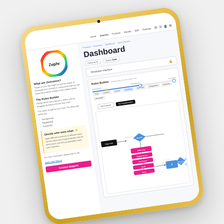[Figure (screenshot): Tablet device showing Zephr dashboard interface with sidebar navigation, Rules Builder flowchart, and status information. The tablet has a gold/yellow border and is tilted slightly to the right. The screen shows: left sidebar with Zephr logo, 'What are Outcomes?' section, 'The Rules Builder' section, 'Decide who sees what' highlighted section, and a contact support button. Main area shows Dashboard title, breadcrumb navigation, status badges, Developer Interface bar, Rules Builder section with progress track, tabs, and a flowchart with pink and blue decision nodes.]